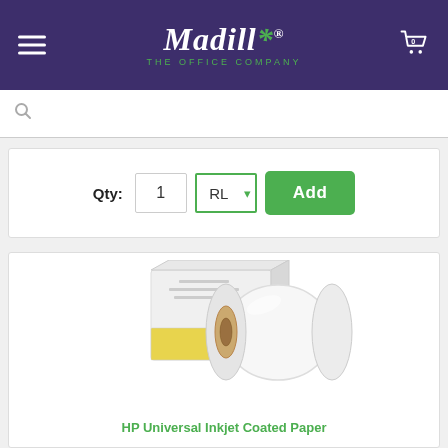Madill THE OFFICE COMPANY
Qty: 1 RL Add
[Figure (photo): HP Universal Inkjet Coated Paper product photo showing two paper rolls and a box]
HP Universal Inkjet Coated Paper